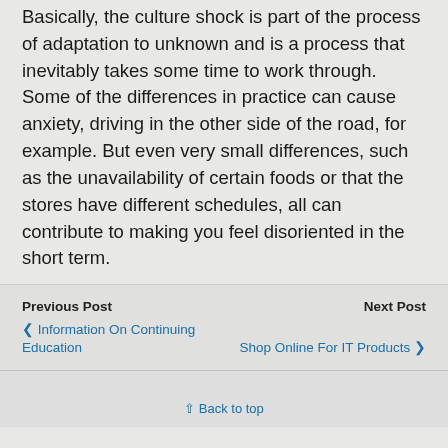Basically, the culture shock is part of the process of adaptation to unknown and is a process that inevitably takes some time to work through. Some of the differences in practice can cause anxiety, driving in the other side of the road, for example. But even very small differences, such as the unavailability of certain foods or that the stores have different schedules, all can contribute to making you feel disoriented in the short term.
Previous Post
◀ Information On Continuing Education
Next Post
Shop Online For IT Products ▶
⇧ Back to top